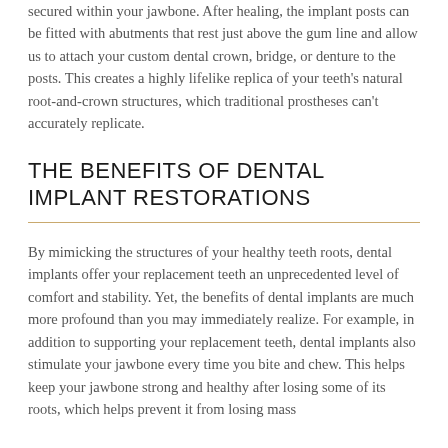secured within your jawbone. After healing, the implant posts can be fitted with abutments that rest just above the gum line and allow us to attach your custom dental crown, bridge, or denture to the posts. This creates a highly lifelike replica of your teeth's natural root-and-crown structures, which traditional prostheses can't accurately replicate.
THE BENEFITS OF DENTAL IMPLANT RESTORATIONS
By mimicking the structures of your healthy teeth roots, dental implants offer your replacement teeth an unprecedented level of comfort and stability. Yet, the benefits of dental implants are much more profound than you may immediately realize. For example, in addition to supporting your replacement teeth, dental implants also stimulate your jawbone every time you bite and chew. This helps keep your jawbone strong and healthy after losing some of its roots, which helps prevent it from losing mass